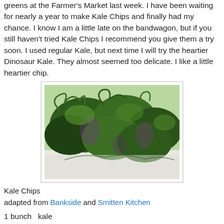greens at the Farmer's Market last week. I have been waiting for nearly a year to make Kale Chips and finally had my chance. I know I am a little late on the bandwagon, but if you still haven't tried Kale Chips I recommend you give them a try soon. I used regular Kale, but next time I will try the heartier Dinosaur Kale. They almost seemed too delicate. I like a little heartier chip.
[Figure (photo): A close-up photo of fresh kale leaves spread on a white surface, showing curly dark green and purple-tinged kale.]
Kale Chips
adapted from Bankside and Smitten Kitchen
1 bunch  kale